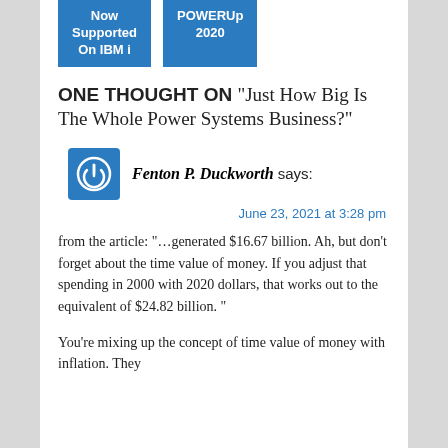[Figure (other): Two blue banner boxes: 'Now Supported On IBM i' and 'POWERUp 2020']
ONE THOUGHT ON “Just How Big Is The Whole Power Systems Business?”
Fenton P. Duckworth says:
June 23, 2021 at 3:28 pm
from the article: “…generated $16.67 billion. Ah, but don’t forget about the time value of money. If you adjust that spending in 2000 with 2020 dollars, that works out to the equivalent of $24.82 billion. ”
You’re mixing up the concept of time value of money with inflation. They